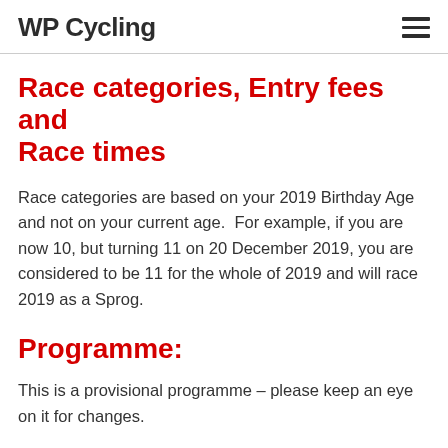WP Cycling
Race categories, Entry fees and Race times
Race categories are based on your 2019 Birthday Age and not on your current age.  For example, if you are now 10, but turning 11 on 20 December 2019, you are considered to be 11 for the whole of 2019 and will race 2019 as a Sprog.
Programme:
This is a provisional programme – please keep an eye on it for changes.